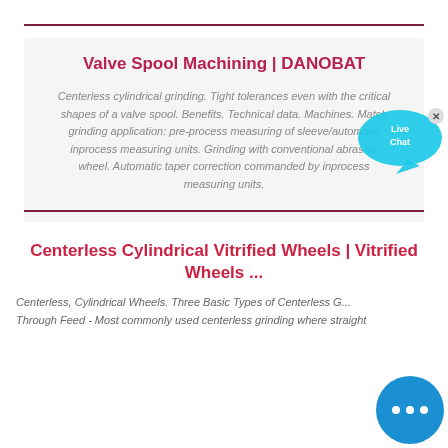Valve Spool Machining | DANOBAT
Centerless cylindrical grinding. Tight tolerances even with the critical shapes of a valve spool. Benefits. Technical data. Machines. Match grinding application: pre-process measuring of sleeve/automatic inprocess measuring units. Grinding with conventional abrasive wheel. Automatic taper correction commanded by inprocess measuring units.
Centerless Cylindrical Vitrified Wheels | Vitrified Wheels ...
Centerless, Cylindrical Wheels. Three Basic Types of Centerless G... Through Feed - Most commonly used centerless grinding where straight